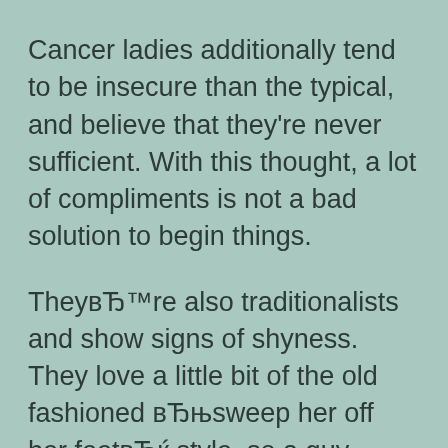Cancer ladies additionally tend to be insecure than the typical, and believe that they're never sufficient. With this thought, a lot of compliments is not a bad solution to begin things.
TheyвЂ™re also traditionalists and show signs of shyness. They love a little bit of the old fashioned вЂњsweep her off her feetвЂќ style, so a guy whom shows her a good time during the cityвЂ™s finest restaurant, delivers significant gift ideas or indulges in singing the odd love track right here or there'll quickly